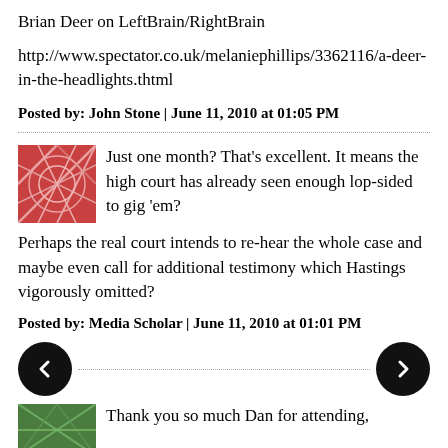Brian Deer on LeftBrain/RightBrain
http://www.spectator.co.uk/melaniephillips/3362116/a-deer-in-the-headlights.thtml
Posted by: John Stone | June 11, 2010 at 01:05 PM
Just one month? That's excellent. It means the high court has already seen enough lop-sided to gig 'em?
Perhaps the real court intends to re-hear the whole case and maybe even call for additional testimony which Hastings vigorously omitted?
Posted by: Media Scholar | June 11, 2010 at 01:01 PM
Thank you so much Dan for attending,